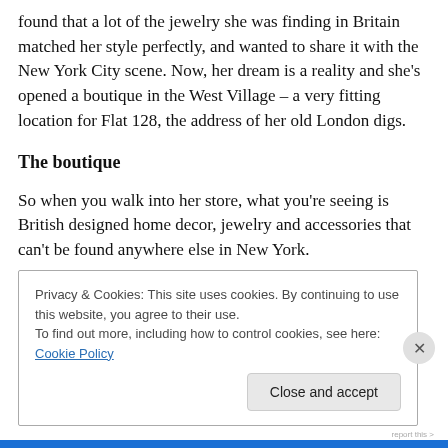found that a lot of the jewelry she was finding in Britain matched her style perfectly, and wanted to share it with the New York City scene. Now, her dream is a reality and she's opened a boutique in the West Village – a very fitting location for Flat 128, the address of her old London digs.
The boutique
So when you walk into her store, what you're seeing is British designed home decor, jewelry and accessories that can't be found anywhere else in New York.
Privacy & Cookies: This site uses cookies. By continuing to use this website, you agree to their use.
To find out more, including how to control cookies, see here: Cookie Policy